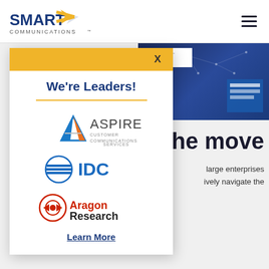SMART COMMUNICATIONS
[Figure (screenshot): Website screenshot showing Smart Communications page with a modal popup. The modal has a yellow top bar with an X close button, displays 'We're Leaders!' heading, followed by logos of Aspire Customer Communications Services, IDC, and Aragon Research, and a 'Learn More' link. Behind the modal is a document thumbnail 'A CCM Migration Roadmap' and text about 'the move' and 'large enterprises navigate the'.]